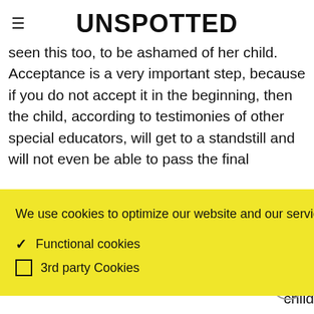UNSPOTTED
seen this too, to be ashamed of her child. Acceptance is a very important step, because if you do not accept it in the beginning, then the child, according to testimonies of other special educators, will get to a standstill and will not even be able to pass the final
We use cookies to optimize our website and our service. Read more
Functional cookies
3rd party Cookies
Save preferences